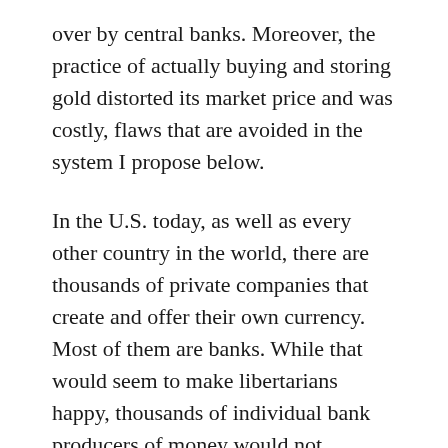over by central banks. Moreover, the practice of actually buying and storing gold distorted its market price and was costly, flaws that are avoided in the system I propose below.
In the U.S. today, as well as every other country in the world, there are thousands of private companies that create and offer their own currency. Most of them are banks. While that would seem to make libertarians happy, thousands of individual bank producers of money would not constitute an efficient monetary system without rules and mechanisms for linking them into what we think of as one currency–in our case the U.S. dollar.